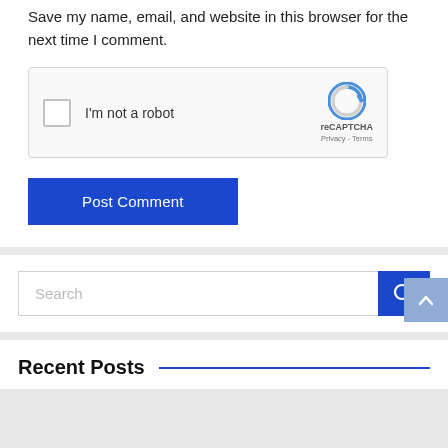Save my name, email, and website in this browser for the next time I comment.
[Figure (screenshot): reCAPTCHA widget with checkbox labeled 'I'm not a robot' and reCAPTCHA logo with Privacy and Terms links]
Post Comment
Search
Recent Posts